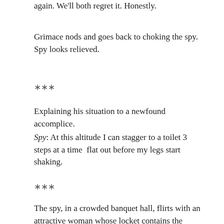again. We'll both regret it. Honestly.
Grimace nods and goes back to choking the spy. Spy looks relieved.
***
Explaining his situation to a newfound accomplice.
Spy: At this altitude I can stagger to a toilet 3 steps at a time  flat out before my legs start shaking.
***
The spy, in a crowded banquet hall, flirts with an attractive woman whose locket contains the launch codes.